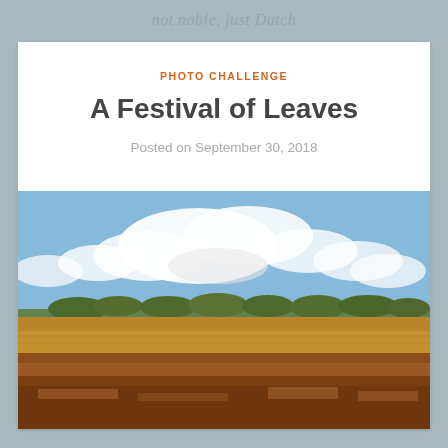not noble, just Dutch
PHOTO CHALLENGE
A Festival of Leaves
Posted on September 30, 2018
[Figure (photo): Autumn landscape with golden-brown heathland in the foreground, a row of trees in the middle ground, and a partly cloudy blue sky above.]